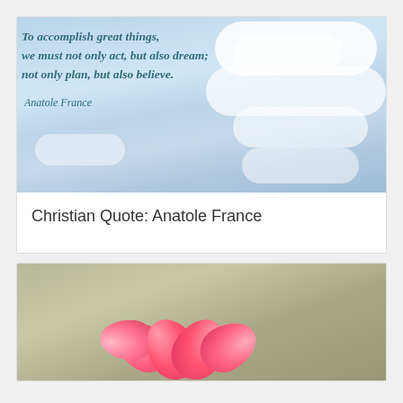[Figure (photo): Sky background with clouds and an inspirational quote in italic teal text: 'To accomplish great things, we must not only act, but also dream; not only plan, but also believe.' attributed to Anatole France]
Christian Quote: Anatole France
[Figure (photo): Close-up photo of a pink flower (plumeria/frangipani) against a muted olive-grey background]